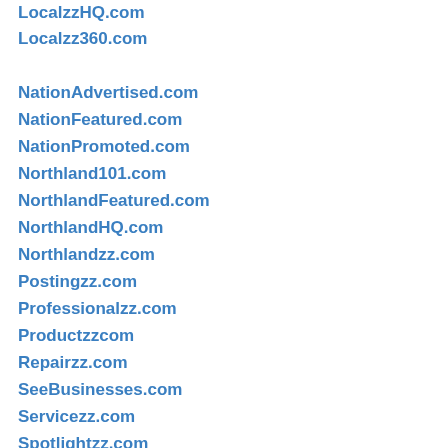LocalzzHQ.com
Localzz360.com
NationAdvertised.com
NationFeatured.com
NationPromoted.com
Northland101.com
NorthlandFeatured.com
NorthlandHQ.com
Northlandzz.com
Postingzz.com
Professionalzz.com
Productzzcom
Repairzz.com
SeeBusinesses.com
Servicezz.com
Spotlightzz.com
Storefrontzz.com